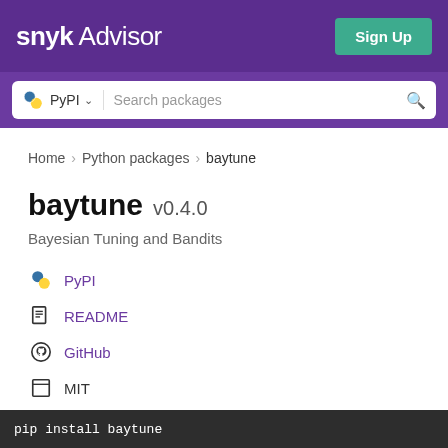snyk Advisor
PyPI  Search packages
Home > Python packages > baytune
baytune v0.4.0
Bayesian Tuning and Bandits
PyPI
README
GitHub
MIT
Latest version published 2 years ago
pip install baytune